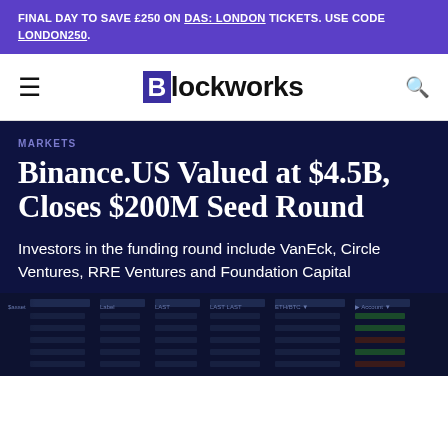FINAL DAY TO SAVE £250 ON DAS: LONDON TICKETS. USE CODE LONDON250.
[Figure (logo): Blockworks logo with purple B square and black text 'lockworks']
MARKETS
Binance.US Valued at $4.5B, Closes $200M Seed Round
Investors in the funding round include VanEck, Circle Ventures, RRE Ventures and Foundation Capital
[Figure (screenshot): Screenshot of a cryptocurrency trading interface showing order book data on a dark background]